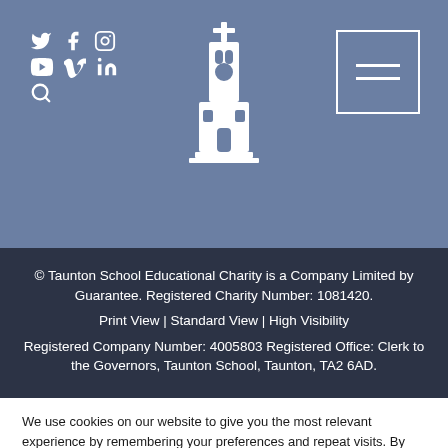[Figure (screenshot): Header navigation bar with social media icons (Twitter, Facebook, Instagram, YouTube, Vimeo, LinkedIn, Search), central church tower logo, and hamburger menu button on a blue-grey background]
© Taunton School Educational Charity is a Company Limited by Guarantee. Registered Charity Number: 1081420.
Print View | Standard View | High Visibility
Registered Company Number: 4005803 Registered Office: Clerk to the Governors, Taunton School, Taunton, TA2 6AD.
We use cookies on our website to give you the most relevant experience by remembering your preferences and repeat visits. By clicking "Accept All", you consent to the use of ALL the cookies. However, you may visit "Cookie Settings" to provide a controlled consent.